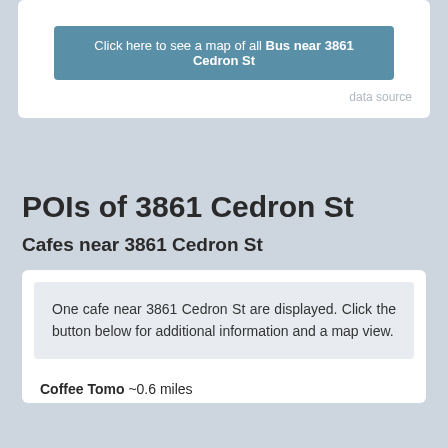Click here to see a map of all Bus near 3861 Cedron St
data source
POIs of 3861 Cedron St
Cafes near 3861 Cedron St
One cafe near 3861 Cedron St are displayed. Click the button below for additional information and a map view.
Coffee Tomo ~0.6 miles